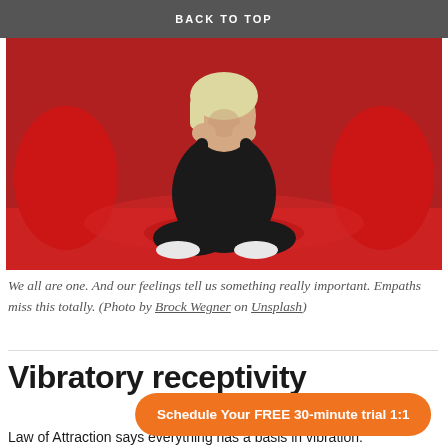BACK TO TOP
[Figure (photo): Young woman with light blonde hair wearing black outfit sitting cross-legged on a red sofa/chair against a red background, resting her face in her hands looking thoughtful or sad.]
We all are one. And our feelings tell us something really important. Empaths miss this totally. (Photo by Brock Wegner on Unsplash)
Vibratory receptivity
Schedule Your FREE 30-minute trial 1:1
Law of Attraction says everything has a basis in vibration.